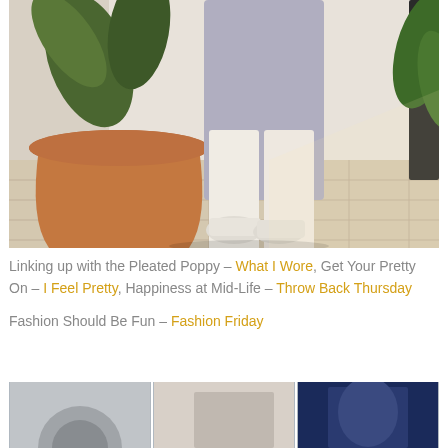[Figure (photo): Fashion photo showing lower body of person wearing white trousers, light grey long top/cardigan, and white ankle boots, standing on tiled outdoor patio with large terracotta pot and tropical plants in background]
Linking up with the Pleated Poppy – What I Wore, Get Your Pretty On – I Feel Pretty, Happiness at Mid-Life – Throw Back Thursday
Fashion Should Be Fun – Fashion Friday
[Figure (photo): Partial bottom row of additional fashion photos, cropped at bottom of page]